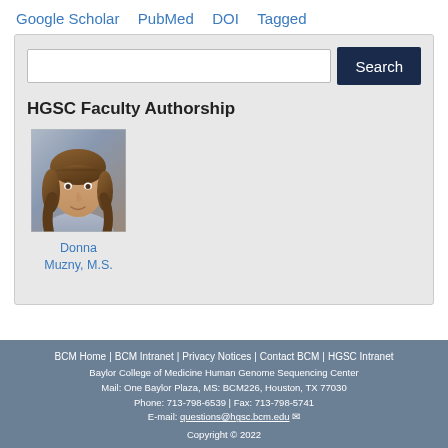Google Scholar | PubMed | DOI | Tagged
HGSC Faculty Authorship
[Figure (photo): Portrait photo of Donna Muzny, M.S.]
Donna Muzny, M.S.
BCM Home | BCM Intranet | Privacy Notices | Contact BCM | HGSC Intranet
Baylor College of Medicine Human Genome Sequencing Center
Mail: One Baylor Plaza, MS: BCM226, Houston, TX 77030
Phone: 713-798-6539 | Fax: 713-798-5741
E-mail: questions@hgsc.bcm.edu
Copyright © 2022